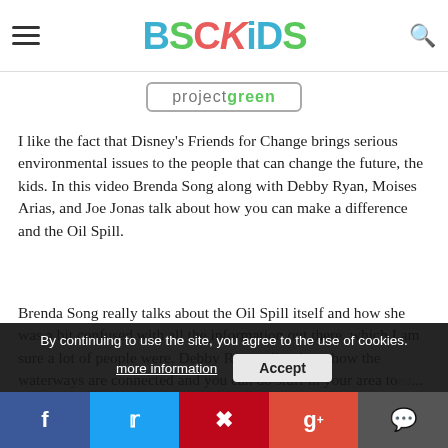BSCKiDS
[Figure (logo): BSCKiDS colorful logo with hamburger menu and search icon in page header]
[Figure (other): projectgreen banner inside rounded rectangle border]
I like the fact that Disney's Friends for Change brings serious environmental issues to the people that can change the future, the kids. In this video Brenda Song along with Debby Ryan, Moises Arias, and Joe Jonas talk about how you can make a difference and the Oil Spill.
Brenda Song really talks about the Oil Spill itself and how she was a bit confused with all the information out there, which I am sure a lot of people were. Debby Ryan talks about how the waterways are connected and you can do stuff in your area to... Joe talk
By continuing to use the site, you agree to the use of cookies. more information  Accept